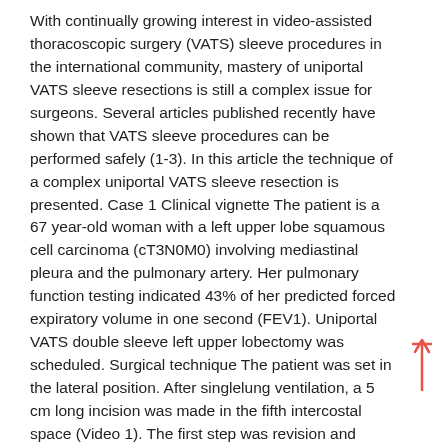With continually growing interest in video-assisted thoracoscopic surgery (VATS) sleeve procedures in the international community, mastery of uniportal VATS sleeve resections is still a complex issue for surgeons. Several articles published recently have shown that VATS sleeve procedures can be performed safely (1-3). In this article the technique of a complex uniportal VATS sleeve resection is presented. Case 1 Clinical vignette The patient is a 67 year-old woman with a left upper lobe squamous cell carcinoma (cT3N0M0) involving mediastinal pleura and the pulmonary artery. Her pulmonary function testing indicated 43% of her predicted forced expiratory volume in one second (FEV1). Uniportal VATS double sleeve left upper lobectomy was scheduled. Surgical technique The patient was set in the lateral position. After singlelung ventilation, a 5 cm long incision was made in the fifth intercostal space (Video 1). The first step was revision and dissection of the mediastinal pleura, division of the pulmonary ligament, dissection of lymph nodes from stations 5, 6, 8 and 9 and visualization of the lower lobe vein (Video 2). The extra-pericardial part of the upper lobe vein was involved in the tumor. Therefore the pericardium was opened and both